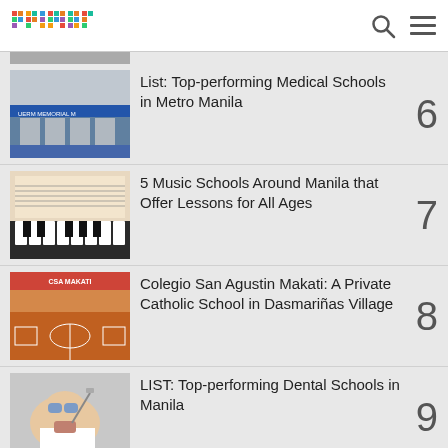primer
List: Top-performing Medical Schools in Metro Manila
5 Music Schools Around Manila that Offer Lessons for All Ages
Colegio San Agustin Makati: A Private Catholic School in Dasmariñas Village
LIST: Top-performing Dental Schools in Manila
List of Law Schools in